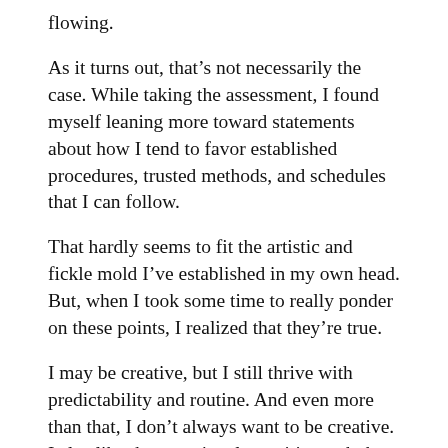flowing.
As it turns out, that’s not necessarily the case. While taking the assessment, I found myself leaning more toward statements about how I tend to favor established procedures, trusted methods, and schedules that I can follow.
That hardly seems to fit the artistic and fickle mold I’ve established in my own head. But, when I took some time to really ponder on these points, I realized that they’re true.
I may be creative, but I still thrive with predictability and routine. And even more than that, I don’t always want to be creative. I also like the occasional repetitive task that produces some really tangible results. I guess that explains why I don’t really mind filling out my expense spreadsheet at the end of